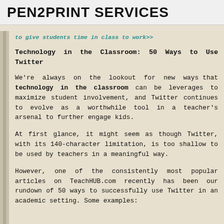PEN2PRINT SERVICES
to give students time in class to work>>
Technology in the Classroom: 50 Ways to Use Twitter
We're always on the lookout for new ways that technology in the classroom can be leverages to maximize student involvement, and Twitter continues to evolve as a worthwhile tool in a teacher's arsenal to further engage kids.
At first glance, it might seem as though Twitter, with its 140-character limitation, is too shallow to be used by teachers in a meaningful way.
However, one of the consistently most popular articles on TeachHUB.com recently has been our rundown of 50 ways to successfully use Twitter in an academic setting. Some examples: